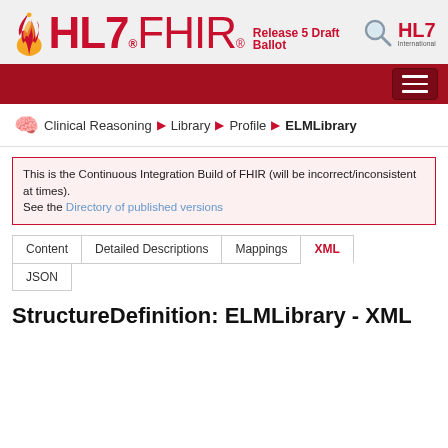HL7 FHIR Release 5 Draft Ballot
Clinical Reasoning > Library > Profile > ELMLibrary
This is the Continuous Integration Build of FHIR (will be incorrect/inconsistent at times). See the Directory of published versions
Content | Detailed Descriptions | Mappings | XML | JSON
StructureDefinition: ELMLibrary - XML